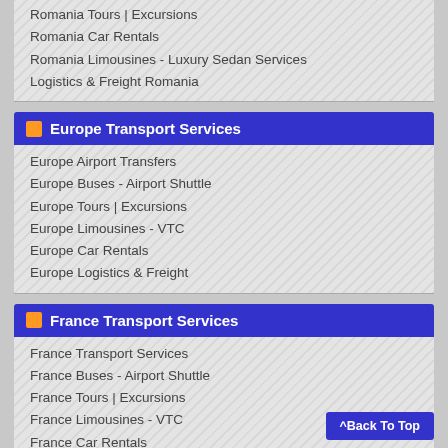Romania Tours | Excursions
Romania Car Rentals
Romania Limousines - Luxury Sedan Services
Logistics & Freight Romania
Europe Transport Services
Europe Airport Transfers
Europe Buses - Airport Shuttle
Europe Tours | Excursions
Europe Limousines - VTC
Europe Car Rentals
Europe Logistics & Freight
France Transport Services
France Transport Services
France Buses - Airport Shuttle
France Tours | Excursions
France Limousines - VTC
France Car Rentals
Logistics & Freight Shipping France
Portugal Transport Services
Portugal Airport Transfers Taxi
Airport Shuttle Portugal - Autobuses Transport Service Portugal